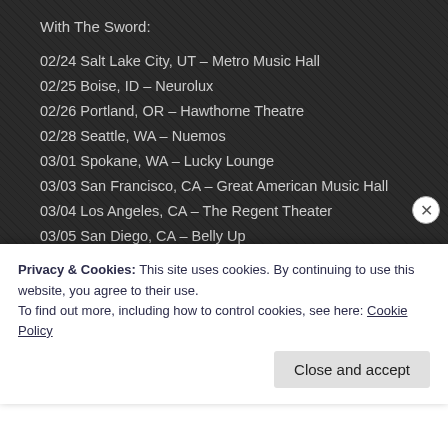With The Sword:
02/24 Salt Lake City, UT – Metro Music Hall
02/25 Boise, ID – Neurolux
02/26 Portland, OR – Hawthorne Theatre
02/28 Seattle, WA – Nuemos
03/01 Spokane, WA – Lucky Lounge
03/03 San Francisco, CA – Great American Music Hall
03/04 Los Angeles, CA – The Regent Theater
03/05 San Diego, CA – Belly Up
03/06 Phoenix, AZ – Crescent Ballroom
03/08 Albuquerque, NM – Launchpad
03/09 Denver, CO – Gothic Theatre
03/11 Lawrence, KS – Granada Theater
03/12 Dallas, TX – Amplified Live
03/13 Austin, TX – Mohawk
Privacy & Cookies: This site uses cookies. By continuing to use this website, you agree to their use.
To find out more, including how to control cookies, see here: Cookie Policy
Close and accept